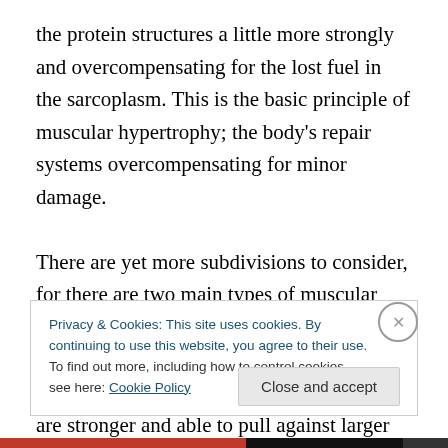the protein structures a little more strongly and overcompensating for the lost fuel in the sarcoplasm. This is the basic principle of muscular hypertrophy; the body's repair systems overcompensating for minor damage.

There are yet more subdivisions to consider, for there are two main types of muscular hypertrophy. The first is myofibrillated hypertrophy, concerning the rebuilding of the myofibrils with more proteins so they are stronger and able to pull against larger loads. This enables the muscle to lift larger weights & makes one stronger, and is the prominent
Privacy & Cookies: This site uses cookies. By continuing to use this website, you agree to their use.
To find out more, including how to control cookies, see here: Cookie Policy
Close and accept